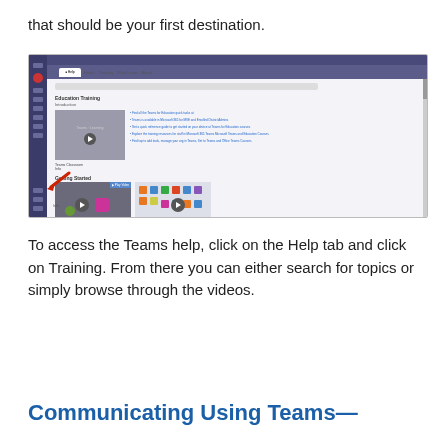that should be your first destination.
[Figure (screenshot): Screenshot of Microsoft Teams Help training page showing Education Training section with Introduction video thumbnail and Getting Started video thumbnails, with a red arrow pointing to the bottom-left sidebar icon.]
To access the Teams help, click on the Help tab and click on Training. From there you can either search for topics or simply browse through the videos.
Communicating Using Teams—